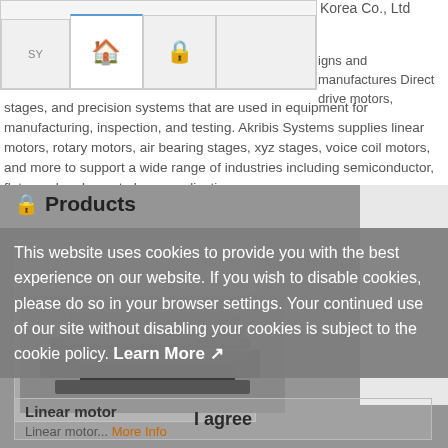[Figure (screenshot): Website navigation bar with home icon tab and lock/secure icon tab, partially visible browser UI]
designs and manufactures Direct drive motors, stages, and precision systems that are used in equipment for manufacturing, inspection, and testing. Akribis Systems supplies linear motors, rotary motors, air bearing stages, xyz stages, voice coil motors, and more to support a wide range of industries including semiconductor, flat panel and smart phone application.
Products
This website uses cookies to provide you with the best experience on our website. If you wish to disable cookies, please do so in your browser settings. Your continued use of our site without disabling your cookies is subject to the cookie policy. Learn More
[Figure (photo): Photo of linear motor components - stacked metallic motor parts]
Linear motor
Linear motor... More Info